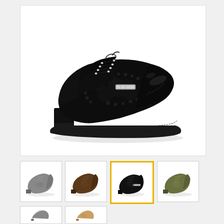[Figure (photo): Large main product photo of a black exotic leather (ostrich/alligator texture) lace-up dress shoe with silver metal ornament on the vamp, shown in three-quarter view against white background]
[Figure (photo): Thumbnail 1: gray/charcoal exotic leather dress shoe, side view]
[Figure (photo): Thumbnail 2: brown/dark taupe exotic leather dress shoe, side view]
[Figure (photo): Thumbnail 3: black exotic leather dress shoe, side view (currently selected, highlighted with yellow border)]
[Figure (photo): Thumbnail 4: olive/khaki exotic leather dress shoe, side view]
[Figure (photo): Bottom row thumbnail 1: partially visible shoe in gray/silver tone]
[Figure (photo): Bottom row thumbnail 2: partially visible shoe in brown/tan tone]